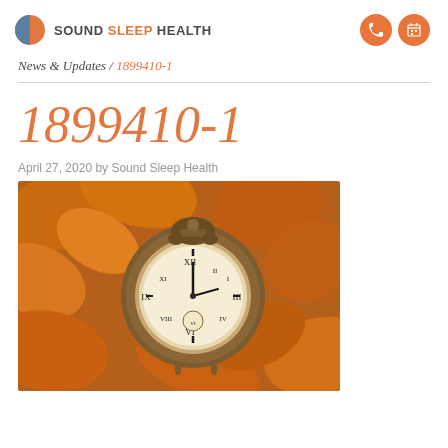SOUND SLEEP HEALTH
News & Updates / 1899410-1
1899410-1
April 27, 2020 by Sound Sleep Health
[Figure (photo): An antique bronze alarm clock resting among autumn orange and brown maple leaves]